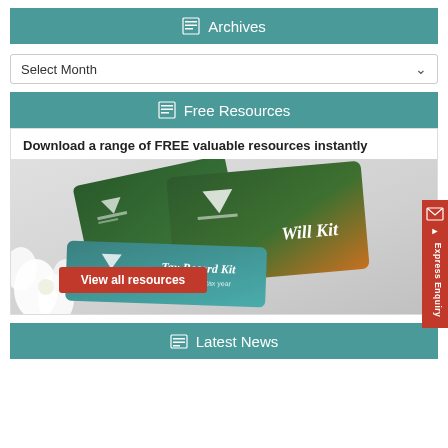Archives
Select Month
Free Resources
Download a range of FREE valuable resources instantly
[Figure (photo): Image showing financial resource cards including a Will Kit and Tax Record Kit with a white flower, and a red 'View all resources' button]
Latest News